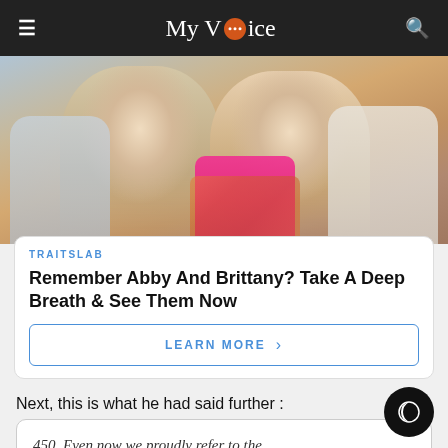My Voice
[Figure (photo): Two smiling blonde women seated together at a social gathering, one wearing a floral top with pink straps. Other people partially visible in background.]
TRAITSLAB
Remember Abby And Brittany? Take A Deep Breath & See Them Now
LEARN MORE  ›
Next, this is what he had said further :
450. Even now we proudly refer to the